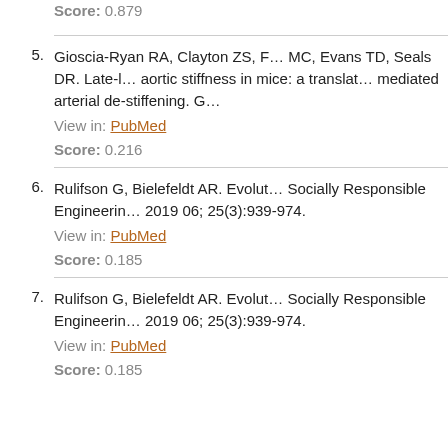Score: 0.879
5. Gioscia-Ryan RA, Clayton ZS, F... MC, Evans TD, Seals DR. Late-l... aortic stiffness in mice: a translat... mediated arterial de-stiffening. G...
View in: PubMed
Score: 0.216
6. Rulifson G, Bielefeldt AR. Evolut... Socially Responsible Engineerin... 2019 06; 25(3):939-974.
View in: PubMed
Score: 0.185
7. Rulifson G, Bielefeldt AR. Evolut... Socially Responsible Engineerin... 2019 06; 25(3):939-974.
View in: PubMed
Score: 0.185